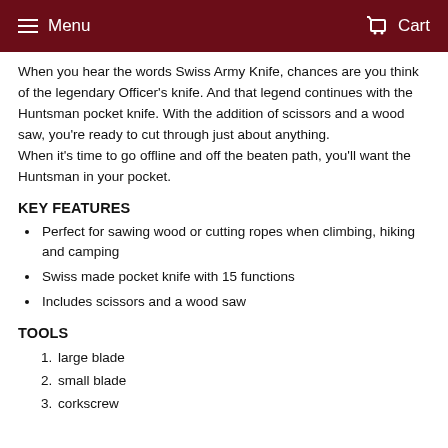Menu  Cart
When you hear the words Swiss Army Knife, chances are you think of the legendary Officer's knife. And that legend continues with the Huntsman pocket knife. With the addition of scissors and a wood saw, you're ready to cut through just about anything.
When it's time to go offline and off the beaten path, you'll want the Huntsman in your pocket.
KEY FEATURES
Perfect for sawing wood or cutting ropes when climbing, hiking and camping
Swiss made pocket knife with 15 functions
Includes scissors and a wood saw
TOOLS
1. large blade
2. small blade
3. corkscrew